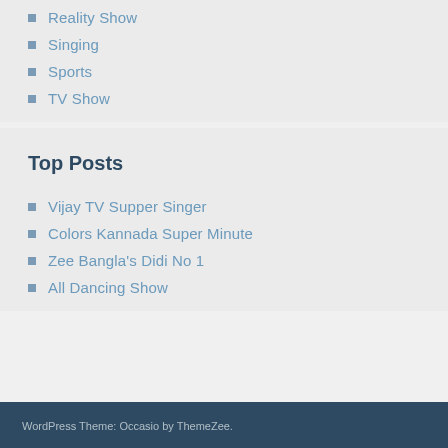Reality Show
Singing
Sports
TV Show
Top Posts
Vijay TV Supper Singer
Colors Kannada Super Minute
Zee Bangla's Didi No 1
All Dancing Show
WordPress Theme: Occasio by ThemeZee.